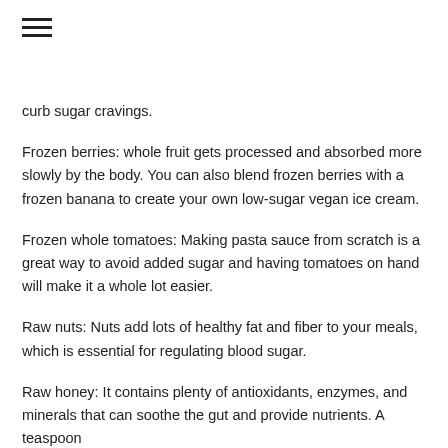curb sugar cravings.
Frozen berries: whole fruit gets processed and absorbed more slowly by the body. You can also blend frozen berries with a frozen banana to create your own low-sugar vegan ice cream.
Frozen whole tomatoes: Making pasta sauce from scratch is a great way to avoid added sugar and having tomatoes on hand will make it a whole lot easier.
Raw nuts: Nuts add lots of healthy fat and fiber to your meals, which is essential for regulating blood sugar.
Raw honey: It contains plenty of antioxidants, enzymes, and minerals that can soothe the gut and provide nutrients. A teaspoon